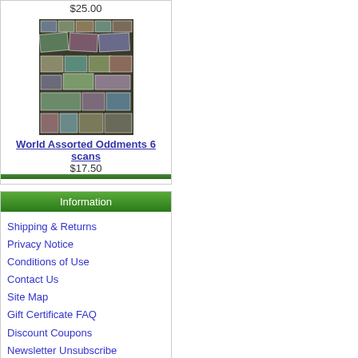$25.00
[Figure (photo): Collage of world assorted postage stamps arranged on dark background]
World Assorted Oddments 6 scans
$17.50
Information
Shipping & Returns
Privacy Notice
Conditions of Use
Contact Us
Site Map
Gift Certificate FAQ
Discount Coupons
Newsletter Unsubscribe
Currencies
Australian Dollar
Have you seen ...